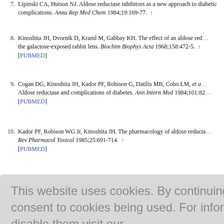7. Lipinski CA, Hutson NJ. Aldose reductase inhibitors as a new approach to diabetic complications. Annu Rep Med Chem 1984;19:169-77. ↑
8. Kinoshita JH, Dvornik D, Kraml M, Gabbay KH. The effect of an aldose reductase on the galactose-exposed rabbit lens. Biochim Biophys Acta 1968;158:472-5. ↑ [PUBMED]
9. Cogan DG, Kinoshita JH, Kador PF, Robison G, Datilis MB, Cobo LM, et al. Aldose reductase and complications of diabetes. Ann Intern Med 1984;101:82... [PUBMED]
10. Kador PF, Robison WG Jr, Kinoshita JH. The pharmacology of aldose reductase... Rev Pharmacol Toxicol 1985;25:691-714. ↑ [PUBMED]
[Figure (screenshot): Cookie consent banner overlay with text: 'This website uses cookies. By continuing to use this website you are giving consent to cookies being used. For information on cookies and how you can disable them visit our Privacy and Cookie Policy.' and an AGREE & PROCEED button.]
15. Liu HY, Liu SS, Qin LT, Mo LY. CoMFA and CoMSIA analysis of 2, 4...